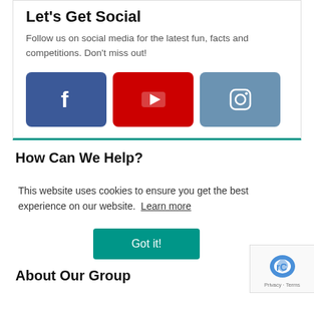Let's Get Social
Follow us on social media for the latest fun, facts and competitions. Don't miss out!
[Figure (infographic): Three social media buttons: Facebook (blue with f icon), YouTube (red with play button icon), Instagram (blue-grey with camera icon)]
How Can We Help?
This website uses cookies to ensure you get the best experience on our website. Learn more
Got it!
About Our Group
[Figure (logo): reCAPTCHA logo with Privacy and Terms text]